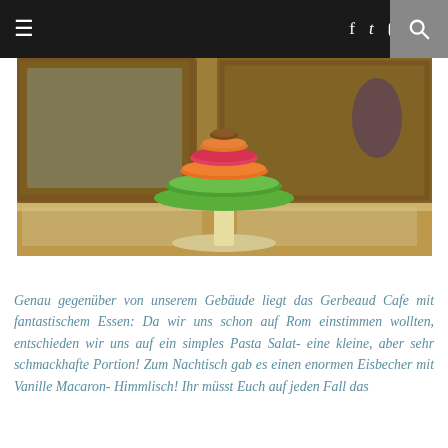≡  f  t  [instagram]  g+  [search]
[Figure (photo): A tower of colorful macarons (green, orange, pink, brown) stacked on a white pedestal stand, displayed inside the Gerbeaud Cafe with wooden display cases visible in the background.]
Genau gegenüber von unserem Gebäude liegt das Gerbeaud Cafe mit fantastischem Essen: Da wir uns schon auf Rom einstimmen wollten, entschieden wir uns auf ein simples Pasta Salat- eine kleine, aber sehr schmackhafte Portion! Zum Nachtisch gab es einen enormen Eisbecher mit Vanille Macaron- Himmlisch! Ihr müsst Euch auf jeden Fall das...